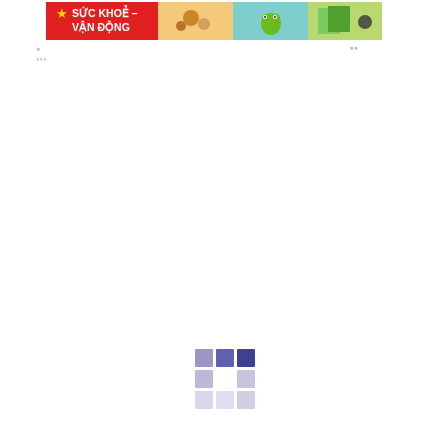[Figure (illustration): Banner with red background on the left showing a star icon and Vietnamese text 'SỨC KHOẺ - VẬN ĐỘNG', followed by three image panels: one with food/cookies, one with a cartoon frog character, and one with colored paper/stationery items.]
[Figure (illustration): A 3x3 grid of color swatches showing varying shades of purple/violet, from darker in the top-right to lighter in the bottom-left, with a white cell in the center.]